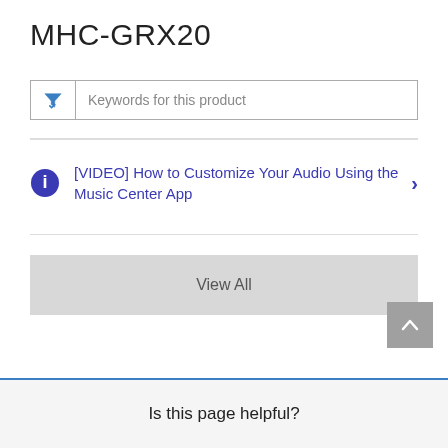MHC-GRX20
[Figure (screenshot): Search filter bar with funnel icon and placeholder text 'Keywords for this product']
[VIDEO] How to Customize Your Audio Using the Music Center App
View All
Is this page helpful?